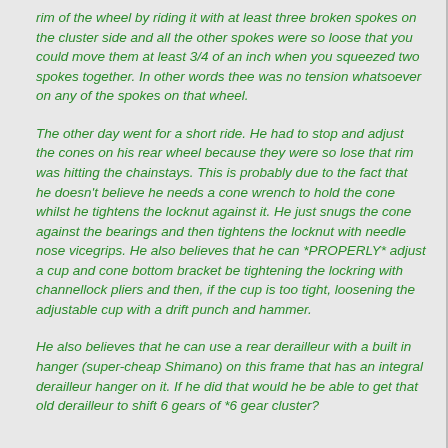rim of the wheel by riding it with at least three broken spokes on the cluster side and all the other spokes were so loose that you could move them at least 3/4 of an inch when you squeezed two spokes together. In other words thee was no tension whatsoever on any of the spokes on that wheel.
The other day went for a short ride. He had to stop and adjust the cones on his rear wheel because they were so lose that rim was hitting the chainstays. This is probably due to the fact that he doesn't believe he needs a cone wrench to hold the cone whilst he tightens the locknut against it. He just snugs the cone against the bearings and then tightens the locknut with needle nose vicegrips. He also believes that he can *PROPERLY* adjust a cup and cone bottom bracket be tightening the lockring with channellock pliers and then, if the cup is too tight, loosening the adjustable cup with a drift punch and hammer.
He also believes that he can use a rear derailleur with a built in hanger (super-cheap Shimano) on this frame that has an integral derailleur hanger on it. If he did that would he be able to get that old derailleur to shift 6 gears of *6 gear cluster?